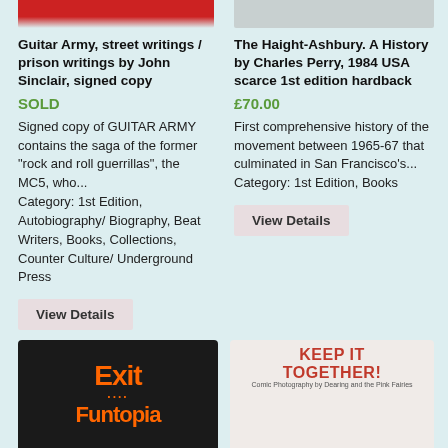[Figure (photo): Top portion of book cover image on left, showing red design]
[Figure (photo): Top portion of book cover image on right, light colored cover]
Guitar Army, street writings / prison writings by John Sinclair, signed copy
SOLD
Signed copy of GUITAR ARMY contains the saga of the former "rock and roll guerrillas", the MC5, who... Category: 1st Edition, Autobiography/ Biography, Beat Writers, Books, Collections, Counter Culture/ Underground Press
View Details
The Haight-Ashbury. A History by Charles Perry, 1984 USA scarce 1st edition hardback
£70.00
First comprehensive history of the movement between 1965-67 that culminated in San Francisco's... Category: 1st Edition, Books
View Details
[Figure (photo): Book cover for Exit Funtopia with orange text on black background]
[Figure (photo): Book cover for Keep It Together with red title text]